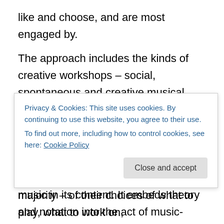like and choose, and are most engaged by.
The approach includes the kinds of creative workshops – social, spontaneous and creative musical experiences that develop aural and inventive skills – that I focus on in my practice as a music leader and educator, and taps into the worlds of popular, rock, classical and world music in its content. It embeds theory and notation into the act of music-making, so that those particular skills and techniques are developed in context, as required.
However, the characterising element of the Musical
Privacy & Cookies: This site uses cookies. By continuing to use this website, you agree to their use.
To find out more, including how to control cookies, see here: Cookie Policy
majority – of their choices of what to play, what to work on,